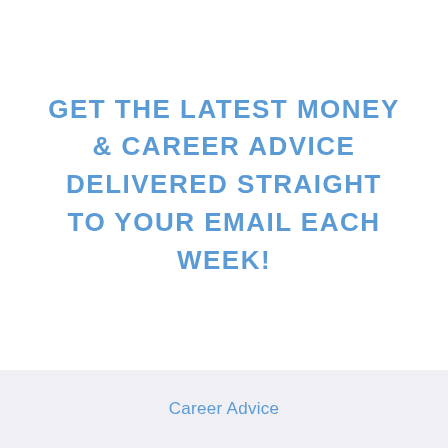GET THE LATEST MONEY & CAREER ADVICE DELIVERED STRAIGHT TO YOUR EMAIL EACH WEEK!
Career Advice